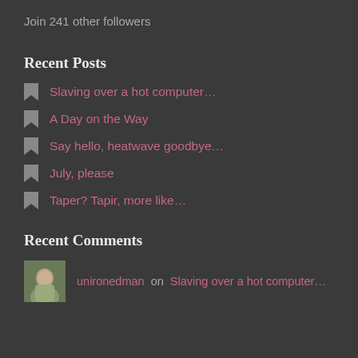Join 241 other followers
Recent Posts
Slaving over a hot computer…
A Day on the Way
Say hello, heatwave goodbye…
July, please
Taper? Tapir, more like…
Recent Comments
unironedman on Slaving over a hot computer…